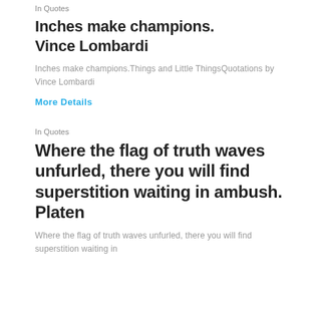In Quotes
Inches make champions. Vince Lombardi
Inches make champions.Things and Little ThingsQuotations by Vince Lombardi
More Details
In Quotes
Where the flag of truth waves unfurled, there you will find superstition waiting in ambush. Platen
Where the flag of truth waves unfurled, there you will find superstition waiting in